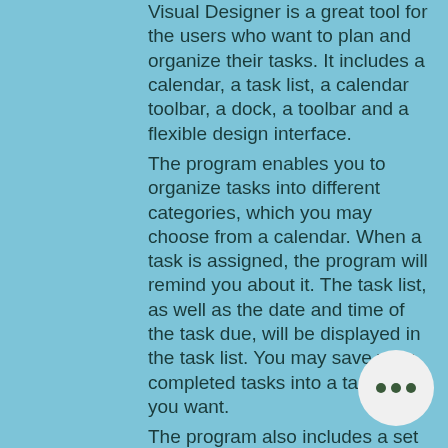Visual Designer is a great tool for the users who want to plan and organize their tasks. It includes a calendar, a task list, a calendar toolbar, a dock, a toolbar and a flexible design interface.
The program enables you to organize tasks into different categories, which you may choose from a calendar. When a task is assigned, the program will remind you about it. The task list, as well as the date and time of the task due, will be displayed in the task list. You may save your completed tasks into a task list, if you want.
The program also includes a set of text editors, enabling you to edit a task text. Visual Designer also provides a text box and a table editor.
DAILY TASKS Description:
As with other programs of the series, Daily Tasks is a program that allows you to organize your daily routine. You may create